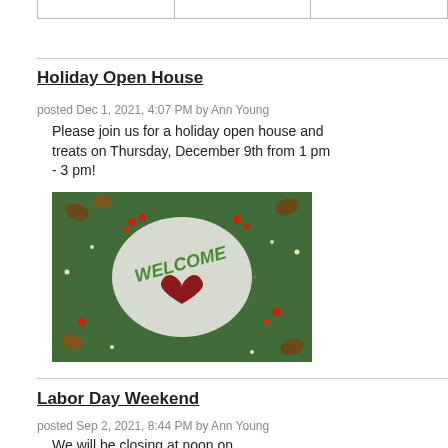Holiday Open House
posted Dec 1, 2021, 4:07 PM by Ann Young
Please join us for a holiday open house and treats on Thursday, December 9th from 1 pm - 3 pm!
[Figure (photo): Holiday wreath with pine cones, red berries, pine branches, and fairy lights, with a WELCOME sign featuring a red heart in the center on a white snowy background]
Labor Day Weekend
posted Sep 2, 2021, 8:44 PM by Ann Young
We will be closing at noon on